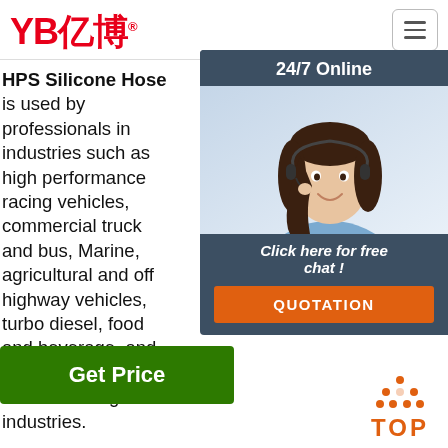[Figure (logo): YB亿博 logo in red with registered trademark symbol]
HPS Silicone Hose is used by professionals in industries such as high performance racing vehicles, commercial truck and bus, Marine, agricultural and off highway vehicles, turbo diesel, food and beverage, and general manufacturing industries.
silicone hoses in stock today.
Sinister Diesel® 3/4' Silicone Coo HO mpr 3/4' Coc Sini
[Figure (screenshot): 24/7 Online chat widget with agent photo, 'Click here for free chat!' text and QUOTATION button]
Get Price
Get Price
[Figure (illustration): Orange TOP button with upward arrow dots icon]